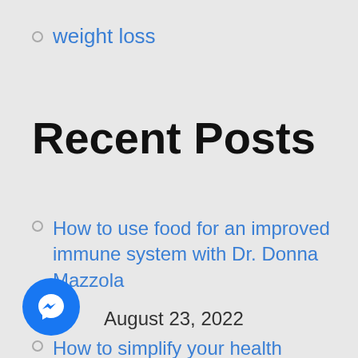weight loss
Recent Posts
How to use food for an improved immune system with Dr. Donna Mazzola
August 23, 2022
How to simplify your health